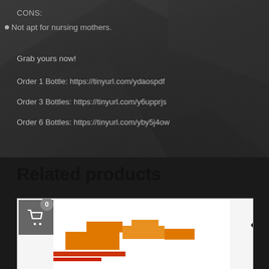CONS:
Not apt for nursing mothers.
Grab yours now!
Order 1 Bottle: https://tinyurl.com/ydaospdf
Order 3 Bottles: https://tinyurl.com/y6upprjs
Order 6 Bottles: https://tinyurl.com/yby5j4ow
Related products
[Figure (screenshot): Product card with shopping cart button, badge showing 0, TOP diamond badge, and orange product image]